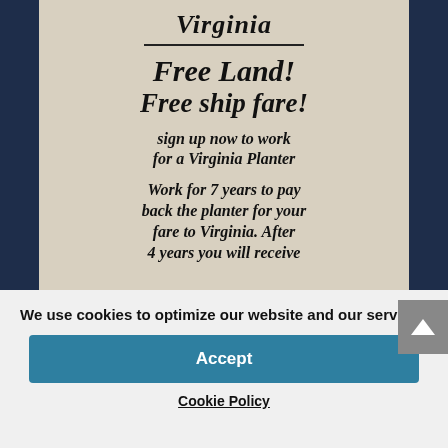[Figure (photo): Black and white historical document image showing handwritten text on white paper with dark background. Text reads: 'Virginia / Free Land! / Free ship fare! / sign up now to work for a Virginia Planter / Work for 7 years to pay back the planter for your fare to Virginia. After 4 years you will receive']
We use cookies to optimize our website and our service.
Accept
Cookie Policy